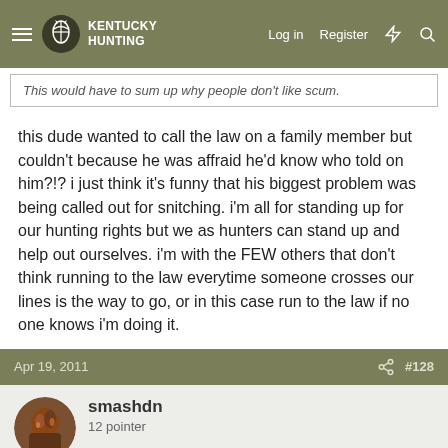Kentucky Hunting | Log in | Register
This would have to sum up why people don't like scum.
this dude wanted to call the law on a family member but couldn't because he was affraid he'd know who told on him?!? i just think it's funny that his biggest problem was being called out for snitching. i'm all for standing up for our hunting rights but we as hunters can stand up and help out ourselves. i'm with the FEW others that don't think running to the law everytime someone crosses our lines is the way to go, or in this case run to the law if no one knows i'm doing it.
Apr 19, 2011  #128
smashdn
12 pointer
No body is "ratting," they are doing the responsible and ethical